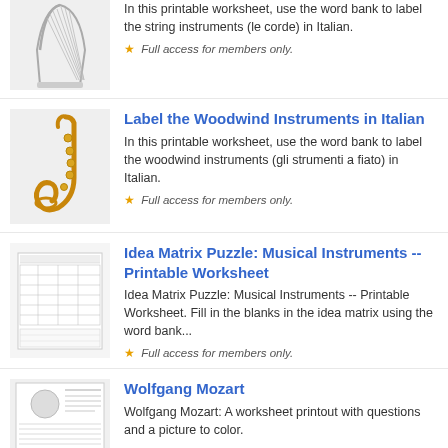[Figure (illustration): Partial view of a harp illustration (cropped at top of page) in a light gray box]
In this printable worksheet, use the word bank to label the string instruments (le corde) in Italian.
Full access for members only.
[Figure (illustration): Golden saxophone illustration in a light gray box]
Label the Woodwind Instruments in Italian
In this printable worksheet, use the word bank to label the woodwind instruments (gli strumenti a fiato) in Italian.
Full access for members only.
[Figure (table-as-image): Thumbnail of Idea Matrix Puzzle worksheet showing a table with blanks]
Idea Matrix Puzzle: Musical Instruments -- Printable Worksheet
Idea Matrix Puzzle: Musical Instruments -- Printable Worksheet. Fill in the blanks in the idea matrix using the word bank...
Full access for members only.
[Figure (illustration): Thumbnail of Wolfgang Mozart worksheet with portrait and text]
Wolfgang Mozart
Wolfgang Mozart: A worksheet printout with questions and a picture to color.